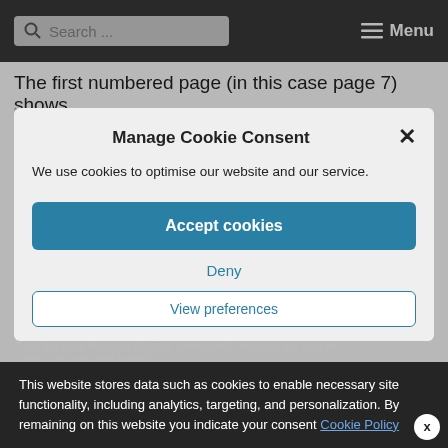Search ... Menu
The first numbered page (in this case page 7) shows
Manage Cookie Consent
We use cookies to optimise our website and our service.
Accept cookies
Deny
View preferences
This website stores data such as cookies to enable necessary site functionality, including analytics, targeting, and personalization. By remaining on this website you indicate your consent Cookie Policy